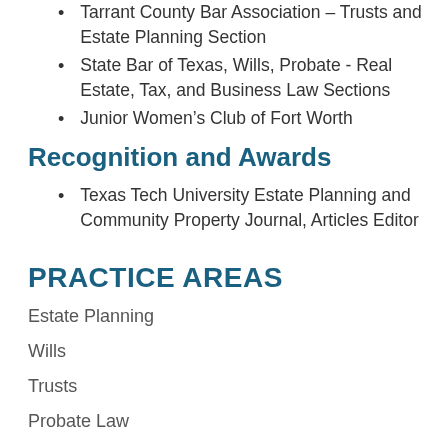Tarrant County Bar Association – Trusts and Estate Planning Section
State Bar of Texas, Wills, Probate - Real Estate, Tax, and Business Law Sections
Junior Women's Club of Fort Worth
Recognition and Awards
Texas Tech University Estate Planning and Community Property Journal, Articles Editor
PRACTICE AREAS
Estate Planning
Wills
Trusts
Probate Law
Legacy / Financial Planning